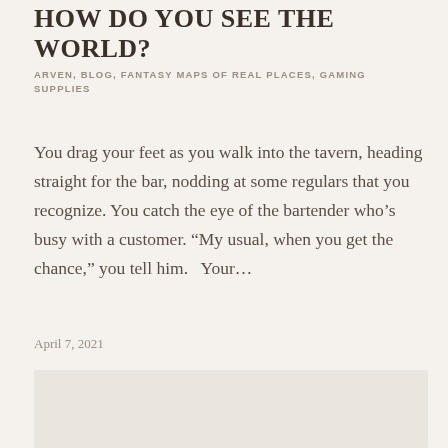HOW DO YOU SEE THE WORLD?
ARVEN, BLOG, FANTASY MAPS OF REAL PLACES, GAMING SUPPLIES
You drag your feet as you walk into the tavern, heading straight for the bar, nodding at some regulars that you recognize. You catch the eye of the bartender who’s busy with a customer. “My usual, when you get the chance,” you tell him.   Your…
April 7, 2021
[Figure (other): Light beige/cream rectangular image placeholder block]